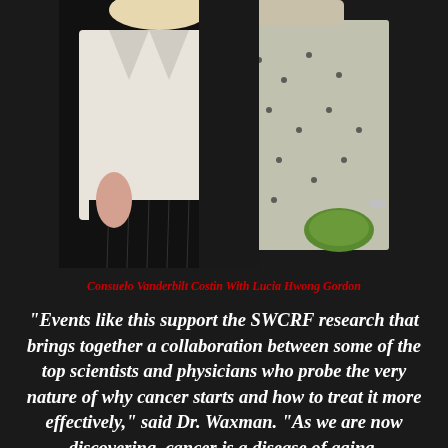[Figure (photo): Two women standing together posing for a photo. One on the left wearing a white blazer/jacket, one on the right wearing a silver/white patterned dress holding a green clutch purse. Dark background.]
Consuelo Vanderbilt Costin With Lucia Hwong Gordon
“Events like this support the SWCRF research that brings together a collaboration between some of the top scientists and physicians who probe the very nature of why cancer starts and how to treat it more effectively,” said Dr. Waxman. “As we are now discovering, cancer is a disease of aging,